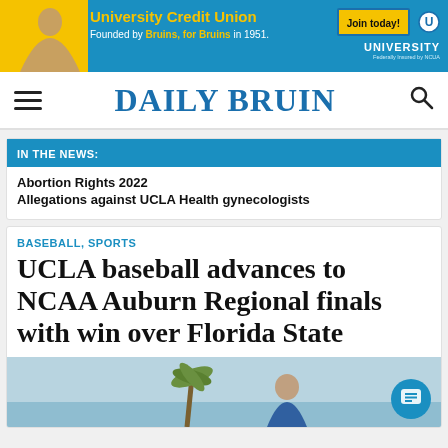[Figure (other): University Credit Union advertisement banner with blue background, yellow accents, person photo, 'University Credit Union - Founded by Bruins, for Bruins in 1951.' text, Join today button, and University Credit Union logo]
DAILY BRUIN
IN THE NEWS:
Abortion Rights 2022
Allegations against UCLA Health gynecologists
BASEBALL, SPORTS
UCLA baseball advances to NCAA Auburn Regional finals with win over Florida State
[Figure (photo): Partial photo showing outdoor scene with palm tree and person, beginning of article photo]